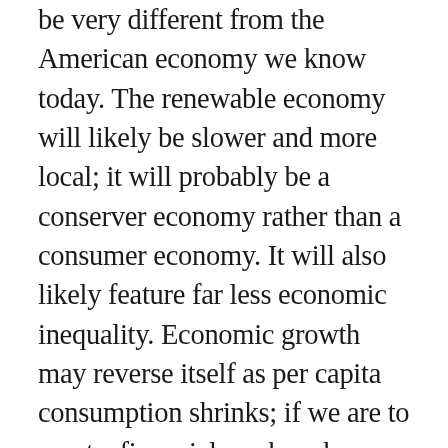be very different from the American economy we know today. The renewable economy will likely be slower and more local; it will probably be a conserver economy rather than a consumer economy. It will also likely feature far less economic inequality. Economic growth may reverse itself as per capita consumption shrinks; if we are to avert a financial crash and perhaps a revolution as well, we may need a different economic organizing principle. In her recent book on climate